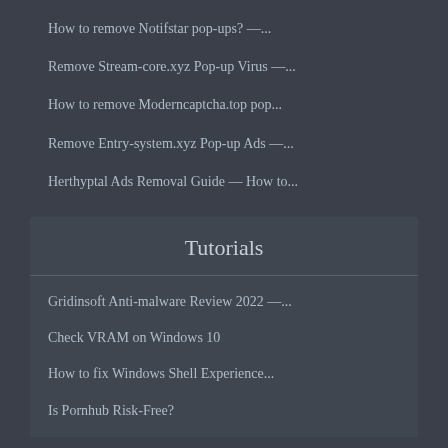How to remove Notifstar pop-ups? —...
Remove Stream-core.xyz Pop-up Virus —...
How to remove Moderncaptcha.top pop...
Remove Entry-system.xyz Pop-up Ads —...
Herthyptal Ads Removal Guide — How to...
Tutorials
Gridinsoft Anti-malware Review 2022 —...
Check VRAM on Windows 10
How to fix Windows Shell Experience...
Is Pornhub Risk-Free?